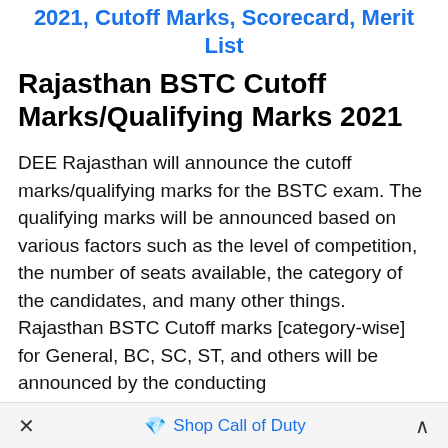2021, Cutoff Marks, Scorecard, Merit List
Rajasthan BSTC Cutoff Marks/Qualifying Marks 2021
DEE Rajasthan will announce the cutoff marks/qualifying marks for the BSTC exam. The qualifying marks will be announced based on various factors such as the level of competition, the number of seats available, the category of the candidates, and many other things. Rajasthan BSTC Cutoff marks [category-wise] for General, BC, SC, ST, and others will be announced by the conducting
× Shop Call of Duty ^